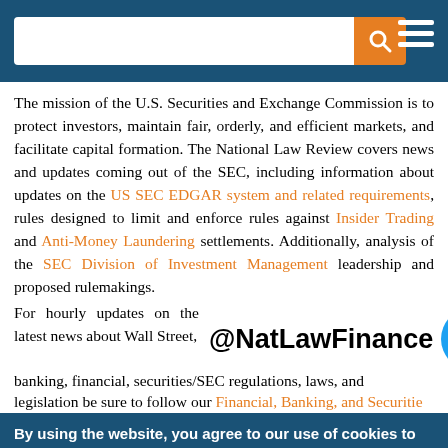[Figure (screenshot): Navigation bar with search input box, orange search button with magnifying glass icon, and hamburger menu icon on dark blue background]
The mission of the U.S. Securities and Exchange Commission is to protect investors, maintain fair, orderly, and efficient markets, and facilitate capital formation. The National Law Review covers news and updates coming out of the SEC, including information about updates on the US SEC EDGAR system and related requirements, rules designed to limit and enforce rules against Insider Trading and Anti-Money Laundering settlements. Additionally, analysis of the SEC Division of Investment Management leadership and proposed rulemakings.
For hourly updates on the latest news about Wall Street, banking, financial, securities/SEC regulations, laws, and legislation be sure to follow our Financial, Banking, and Securities
[Figure (logo): Twitter handle @NatLawFinance with blue Twitter bird logo icon]
By using the website, you agree to our use of cookies to analyze website traffic and improve your experience on our website.
Learn more.
x